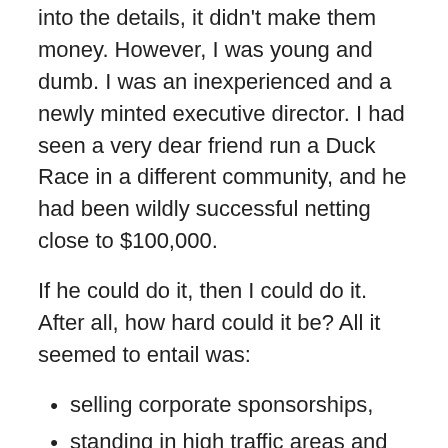into the details, it didn't make them money. However, I was young and dumb. I was an inexperienced and a newly minted executive director. I had seen a very dear friend run a Duck Race in a different community, and he had been wildly successful netting close to $100,000.
If he could do it, then I could do it. After all, how hard could it be? All it seemed to entail was:
selling corporate sponsorships,
standing in high traffic areas and selling $5.00 duck adoptions to people who want a chance at winning a new car, and
putting numbers ducks in the river and pulling the winners out of the water to determine who wins which prizes.